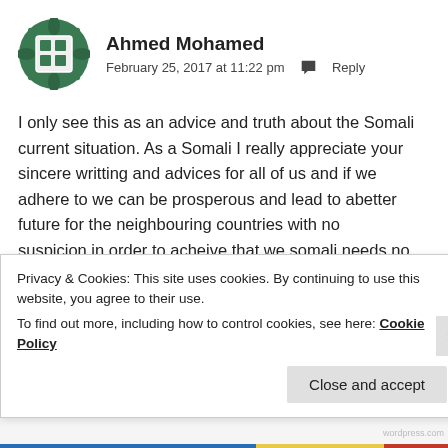[Figure (illustration): Green decorative avatar icon with a grid/window design and floral border, used as a user profile image]
Ahmed Mohamed
February 25, 2017 at 11:22 pm  💬  Reply
I only see this as an advice and truth about the Somali current situation. As a Somali I really appreciate your sincere writting and advices for all of us and if we adhere to we can be prosperous and lead to abetter future for the neighbouring countries with no suspicion,in order to acheive that we somali needs no intervention from the neighbouring countries..
★ Like
Privacy & Cookies: This site uses cookies. By continuing to use this website, you agree to their use.
To find out more, including how to control cookies, see here: Cookie Policy
Close and accept